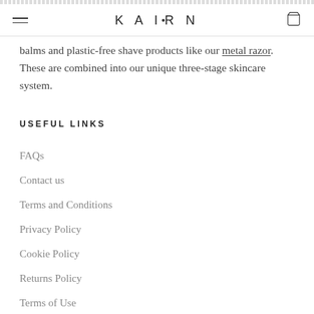KAIRN
balms and plastic-free shave products like our metal razor. These are combined into our unique three-stage skincare system.
USEFUL LINKS
FAQs
Contact us
Terms and Conditions
Privacy Policy
Cookie Policy
Returns Policy
Terms of Use
Foundation